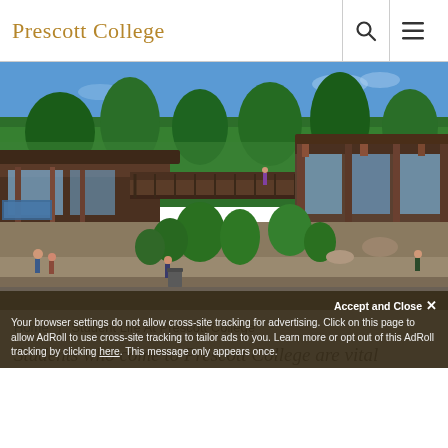Prescott College
[Figure (photo): Aerial/elevated view of Prescott College campus buildings with wooden architecture, green trees, landscaped courtyard, and students walking around. Clear blue sky in background.]
Home | Student Life At Prescott College
Accept and Close ✕
Your browser settings do not allow cross-site tracking for advertising. Click on this page to allow AdRoll to use cross-site tracking to tailor ads to you. Learn more or opt out of this AdRoll tracking by clicking here. This message only appears once.
Students who come to Prescott College are vital